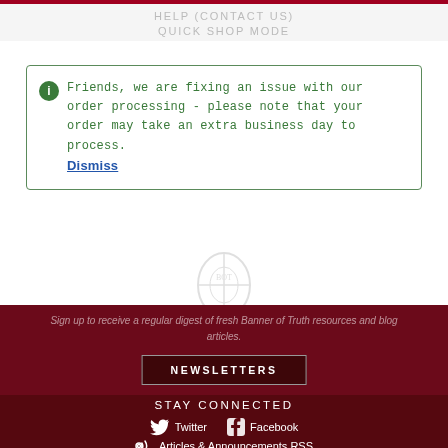HELP (CONTACT US)
QUICK SHOP MODE
Friends, we are fixing an issue with our order processing - please note that your order may take an extra business day to process. Dismiss
Sign up to receive a regular digest of fresh Banner of Truth resources and blog articles.
NEWSLETTERS
STAY CONNECTED
Twitter
Facebook
Articles & Announcements RSS